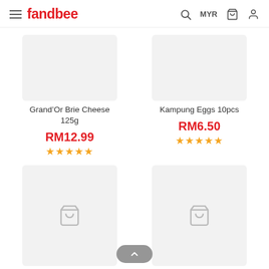fandbee — MYR
[Figure (photo): Product image placeholder for Grand'Or Brie Cheese 125g]
Grand'Or Brie Cheese 125g
RM12.99
★★★★★
[Figure (photo): Product image placeholder for Kampung Eggs 10pcs]
Kampung Eggs 10pcs
RM6.50
★★★★★
[Figure (photo): Product image placeholder for Australian Beef Striploin Shabu Shabu 500g...]
Australian Beef Striploin Shabu Shabu 500g...
[Figure (photo): Product image placeholder for Butler Selection Salted Butter Blend Block 1kg]
Butler Selection Salted Butter Blend Block 1kg